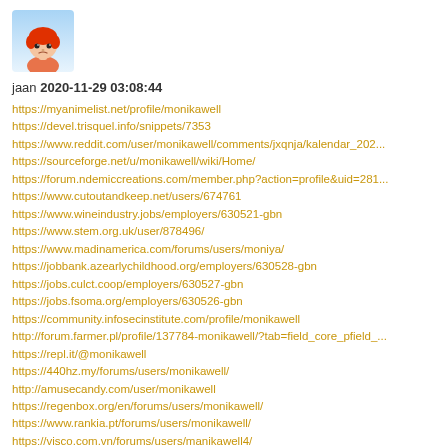[Figure (illustration): Avatar icon of a cartoon character with red hair on a blue/white background]
jaan 2020-11-29 03:08:44
https://myanimelist.net/profile/monikawell
https://devel.trisquel.info/snippets/7353
https://www.reddit.com/user/monikawell/comments/jxqnja/kalendar_202...
https://sourceforge.net/u/monikawell/wiki/Home/
https://forum.ndemiccreations.com/member.php?action=profile&uid=281...
https://www.cutoutandkeep.net/users/674761
https://www.wineindustry.jobs/employers/630521-gbn
https://www.stem.org.uk/user/878496/
https://www.madinamerica.com/forums/users/moniya/
https://jobbank.azearlychildhood.org/employers/630528-gbn
https://jobs.culct.coop/employers/630527-gbn
https://jobs.fsoma.org/employers/630526-gbn
https://community.infosecinstitute.com/profile/monikawell
http://forum.farmer.pl/profile/137784-monikawell/?tab=field_core_pfield_...
https://repl.it/@monikawell
https://440hz.my/forums/users/monikawell/
http://amusecandy.com/user/monikawell
https://regenbox.org/en/forums/users/monikawell/
https://www.rankia.pt/forums/users/monikawell/
https://visco.com.vn/forums/users/manikawell4/
https://eternagame.org/players/279315
https://mantrabrain.com/support-forum/users/monikawell/
https://hyperlethal.shivtr.com/members/2991894
https://...